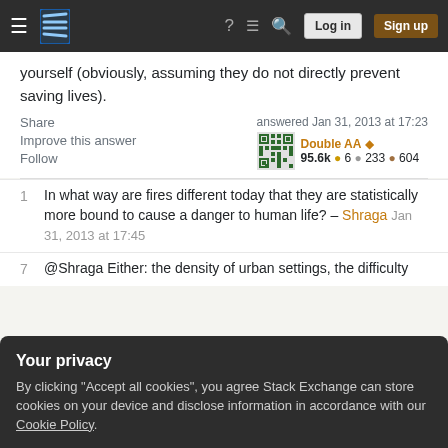Stack Exchange navigation bar with hamburger menu, logo, help, chat, search icons, Log in and Sign up buttons
yourself (obviously, assuming they do not directly prevent saving lives).
Share | Improve this answer | Follow
answered Jan 31, 2013 at 17:23
Double AA ◆
95.6k ● 6 ● 233 ● 604
1  In what way are fires different today that they are statistically more bound to cause a danger to human life? – Shraga Jan 31, 2013 at 17:45
7  @Shraga Either: the density of urban settings, the difficulty
Your privacy
By clicking "Accept all cookies", you agree Stack Exchange can store cookies on your device and disclose information in accordance with our Cookie Policy.
Accept all cookies | Customize settings
Ah, I can definitely hear some of those, but I'm still not sure